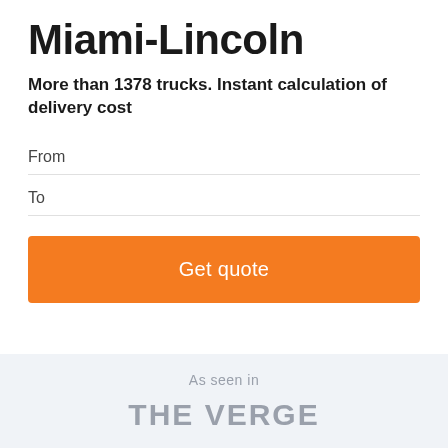Miami-Lincoln
More than 1378 trucks. Instant calculation of delivery cost
From
To
Get quote
As seen in
THE VERGE